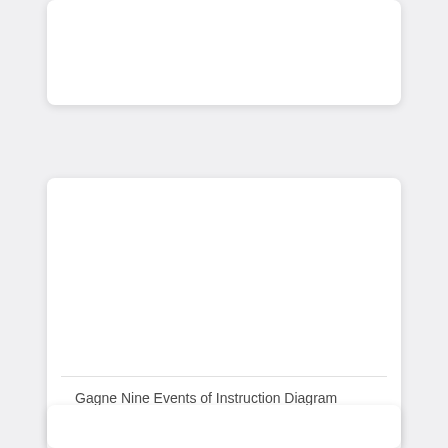[Figure (other): Top card region - partially visible card at top of page]
[Figure (other): Middle card containing a diagram area (mostly white/empty) with a horizontal divider line and caption text below reading 'Gagne Nine Events of Instruction Diagram']
Gagne Nine Events of Instruction Diagram
[Figure (other): Bottom card region - partially visible card at bottom of page]